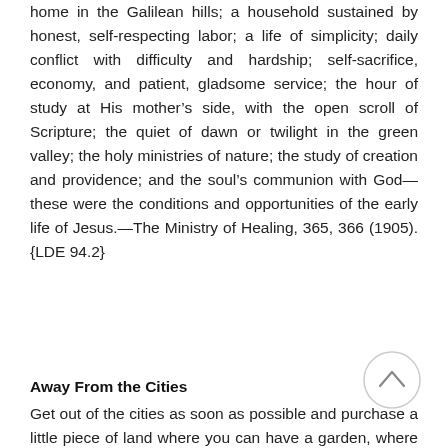home in the Galilean hills; a household sustained by honest, self-respecting labor; a life of simplicity; daily conflict with difficulty and hardship; self-sacrifice, economy, and patient, gladsome service; the hour of study at His mother's side, with the open scroll of Scripture; the quiet of dawn or twilight in the green valley; the holy ministries of nature; the study of creation and providence; and the soul's communion with God—these were the conditions and opportunities of the early life of Jesus.—The Ministry of Healing, 365, 366 (1905). {LDE 94.2}
Away From the Cities
Get out of the cities as soon as possible and purchase a little piece of land where you can have a garden, where your children can watch the flowers growing